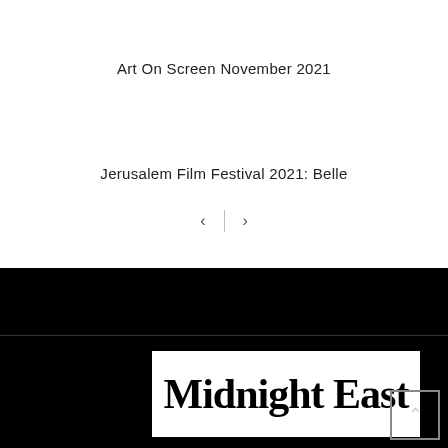Art On Screen November 2021
Jerusalem Film Festival 2021: Belle
[Figure (other): Navigation arrows (previous < and next >) separated by a vertical divider line]
[Figure (logo): Midnight East logo — large serif black text on white rectangle background, on a black footer background]
[Figure (other): Scroll-to-top button: square with upward caret arrow, dark background]